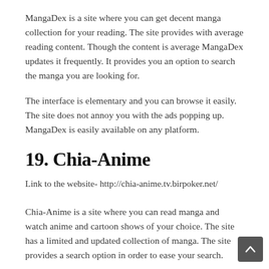MangaDex is a site where you can get decent manga collection for your reading. The site provides with average reading content. Though the content is average MangaDex updates it frequently. It provides you an option to search the manga you are looking for.
The interface is elementary and you can browse it easily. The site does not annoy you with the ads popping up. MangaDex is easily available on any platform.
19. Chia-Anime
Link to the website- http://chia-anime.tv.birpoker.net/
Chia-Anime is a site where you can read manga and watch anime and cartoon shows of your choice. The site has a limited and updated collection of manga. The site provides a search option in order to ease your search.